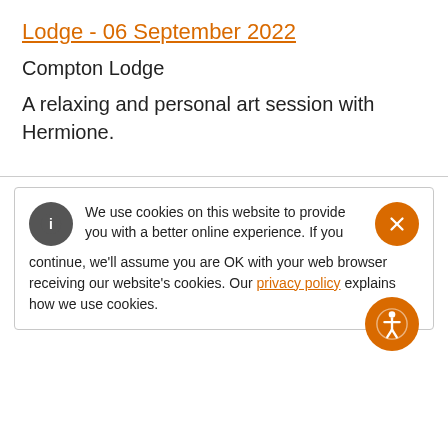Lodge - 06 September 2022
Compton Lodge
A relaxing and personal art session with Hermione.
We use cookies on this website to provide you with a better online experience. If you continue, we'll assume you are OK with your web browser receiving our website's cookies. Our privacy policy explains how we use cookies.